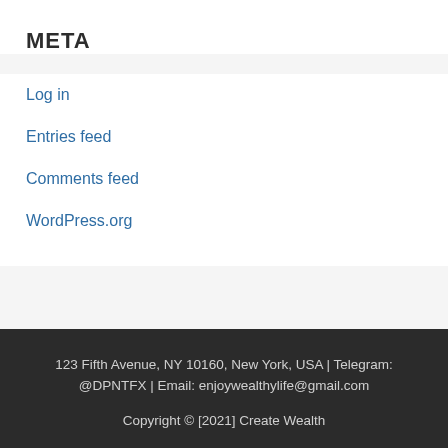META
Log in
Entries feed
Comments feed
WordPress.org
123 Fifth Avenue, NY 10160, New York, USA | Telegram: @DPNTFX | Email: enjoywealthylife@gmail.com
Copyright © [2021] Create Wealth